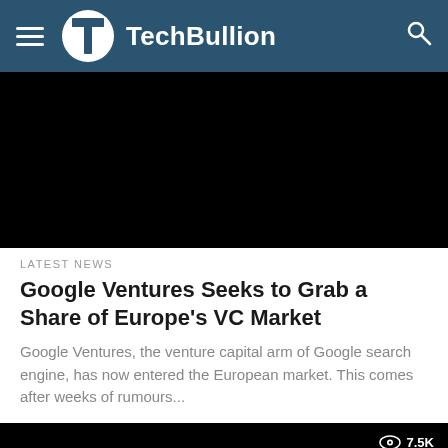TechBullion
[Figure (photo): Dark/black image banner at top of article]
LATEST NEWS
Google Ventures Seeks to Grab a Share of Europe's VC Market
Google Ventures, the venture capital arm of Google search engine, has now entered the European market. This comes after weeks of rumours...
[Figure (photo): Dark/black image thumbnail with 7.5K views badge]